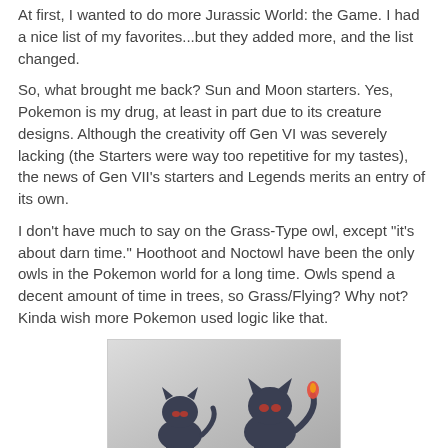At first, I wanted to do more Jurassic World: the Game. I had a nice list of my favorites...but they added more, and the list changed.
So, what brought me back? Sun and Moon starters. Yes, Pokemon is my drug, at least in part due to its creature designs. Although the creativity off Gen VI was severely lacking (the Starters were way too repetitive for my tastes), the news of Gen VII's starters and Legends merits an entry of its own.
I don't have much to say on the Grass-Type owl, except "it's about darn time." Hoothoot and Noctowl have been the only owls in the Pokemon world for a long time. Owls spend a decent amount of time in trees, so Grass/Flying? Why not? Kinda wish more Pokemon used logic like that.
[Figure (illustration): Two dark cat-like Pokemon characters (Litten) shown against a gray gradient background. One is smaller on the left, and one is larger on the right with a flame-tipped tail. Both have red markings.]